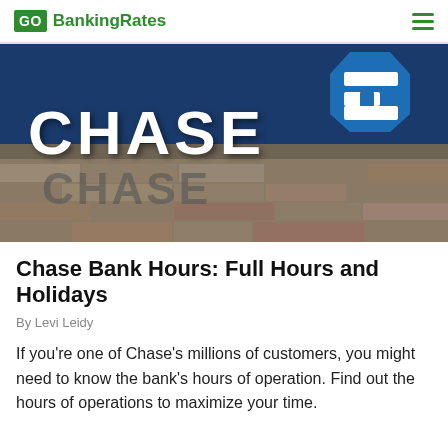GO BankingRates
[Figure (photo): Chase Bank exterior sign on stone building with blue sky background, showing white CHASE letters and blue octagonal Chase logo]
Chase Bank Hours: Full Hours and Holidays
By Levi Leidy
If you're one of Chase's millions of customers, you might need to know the bank's hours of operation. Find out the hours of operations to maximize your time.